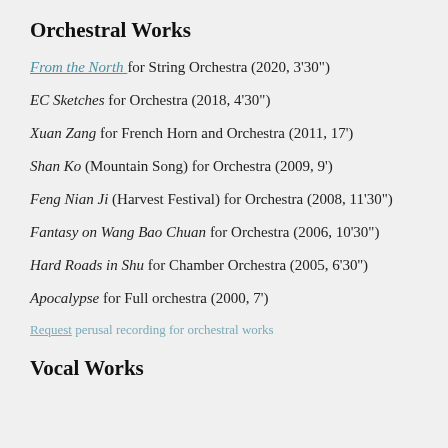Orchestral Works
From the North for String Orchestra (2020, 3'30")
EC Sketches for Orchestra (2018, 4'30")
Xuan Zang for French Horn and Orchestra (2011, 17')
Shan Ko (Mountain Song) for Orchestra (2009, 9')
Feng Nian Ji (Harvest Festival) for Orchestra (2008, 11'30")
Fantasy on Wang Bao Chuan for Orchestra (2006, 10'30")
Hard Roads in Shu for Chamber Orchestra (2005, 6'30'')
Apocalypse for Full orchestra (2000, 7')
Request perusal recording for orchestral works
Vocal Works